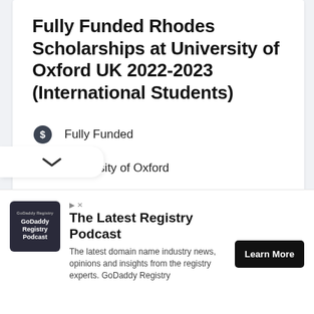Fully Funded Rhodes Scholarships at University of Oxford UK 2022-2023 (International Students)
Fully Funded
University of Oxford
Postgraduate
All Subjects
International Students, Domestic Students
UK
[Figure (other): Advertisement banner for GoDaddy Registry Podcast with Learn More button]